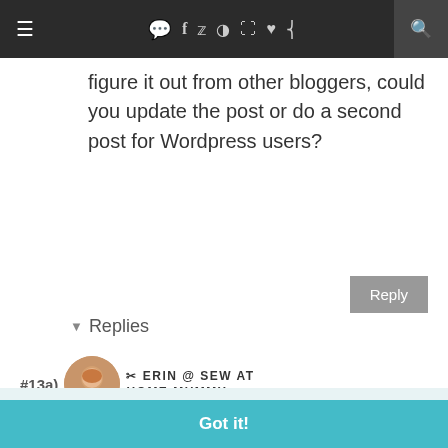Navigation bar with hamburger menu, social icons (chat, Facebook, Twitter, Instagram, Pinterest, heart, RSS) and search
figure it out from other bloggers, could you update the post or do a second post for Wordpress users?
Reply
▾ Replies
#13a) ✂ ERIN @ SEW AT HOME MUMMY ✂
This website uses cookies to ensure you get the best experience on our website.
Learn more
Got it!
Wordpress user, you'll